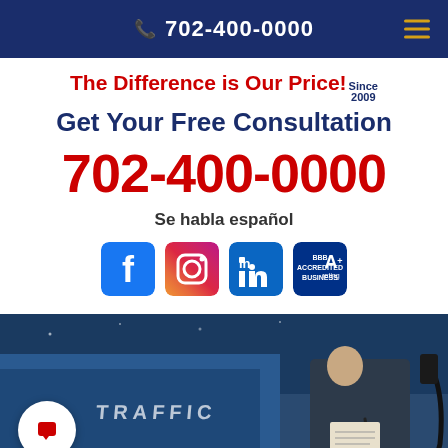☎ 702-400-0000
The Difference is Our Price! Since 2009
Get Your Free Consultation
702-400-0000
Se habla español
[Figure (illustration): Social media icons: Facebook, Instagram, LinkedIn, and BBB A+ rating badge]
[Figure (photo): A traffic police officer writing a ticket, with a TRAFFIC vehicle visible in the background. A chat button is visible in the lower left corner.]